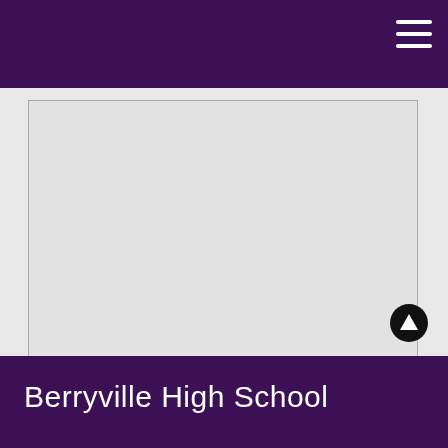[Figure (screenshot): Large light gray rectangular area representing a content/iframe area with a dark border, and a circular scroll-to-top button in the lower right corner]
Berryville High School